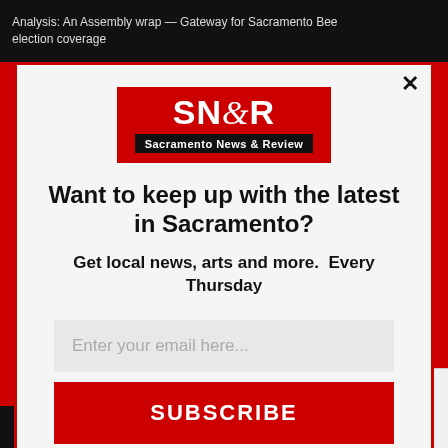Analysis: An Assembly wrap — Gateway for Sacramento Bee election coverage
[Figure (logo): SN&R Sacramento News & Review logo — red box with white bold text SN&R and black banner reading Sacramento News & Review]
Want to keep up with the latest in Sacramento?
Get local news, arts and more.  Every Thursday
Enter your email here...
SUBSCRIBE
optinmonster